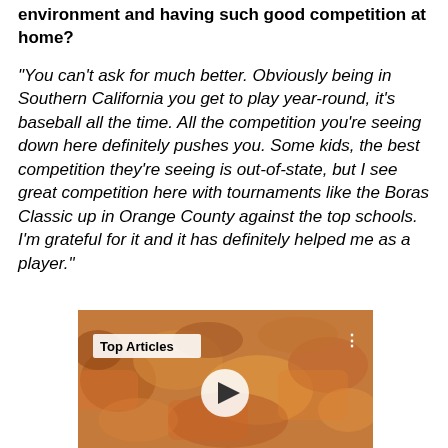environment and having such good competition at home?
"You can't ask for much better. Obviously being in Southern California you get to play year-round, it's baseball all the time. All the competition you're seeing down here definitely pushes you. Some kids, the best competition they're seeing is out-of-state, but I see great competition here with tournaments like the Boras Classic up in Orange County against the top schools. I'm grateful for it and it has definitely helped me as a player."
[Figure (screenshot): Video player thumbnail showing a crowd of people, with a 'Top Articles' label in the upper left, a play button in the center, and a vertical dots menu icon in the upper right.]